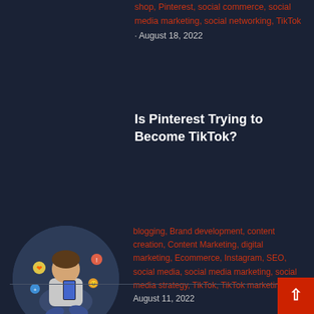shop, Pinterest, social commerce, social media marketing, social networking, TikTok · August 18, 2022
Is Pinterest Trying to Become TikTok?
[Figure (photo): Circular cropped photo of a person sitting and looking at their smartphone, with social media emoji icons floating around them]
blogging, Brand development, content creation, Content Marketing, digital marketing, Ecommerce, Instagram, SEO, social media, social media marketing, social media strategy, TikTok, TikTok marketing · August 11, 2022
Which is Better for Your Business: TikTok or Instagram Marketing?